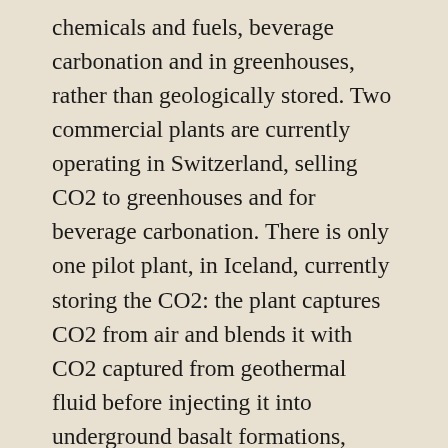chemicals and fuels, beverage carbonation and in greenhouses, rather than geologically stored. Two commercial plants are currently operating in Switzerland, selling CO2 to greenhouses and for beverage carbonation. There is only one pilot plant, in Iceland, currently storing the CO2: the plant captures CO2 from air and blends it with CO2 captured from geothermal fluid before injecting it into underground basalt formations, where it is mineralised, i.e. converted into a mineral. In North America, both Carbon Engineering and Global Thermostat have been operating a number of pilot plants, with Carbon Engineering (in collaboration with